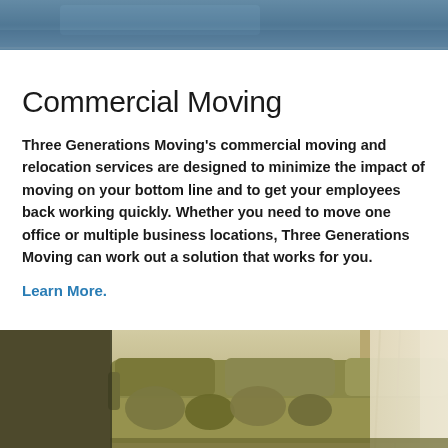[Figure (photo): Top portion of a photo showing interior space with blue/grey tones]
Commercial Moving
Three Generations Moving's commercial moving and relocation services are designed to minimize the impact of moving on your bottom line and to get your employees back working quickly. Whether you need to move one office or multiple business locations, Three Generations Moving can work out a solution that works for you.
Learn More.
[Figure (photo): Bottom portion of a photo showing a living room sofa/couch with olive/tan cushions and pillows, natural light from windows]